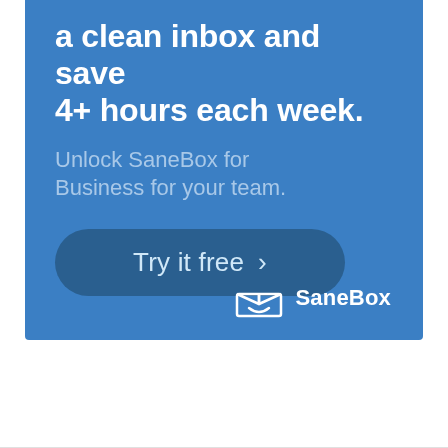a clean inbox and save 4+ hours each week.
Unlock SaneBox for Business for your team.
[Figure (other): A rounded rectangle button with dark blue background containing 'Try it free' text with a right-pointing chevron arrow]
[Figure (logo): SaneBox logo: white open box icon with a smiling face, followed by 'SaneBox' text in white]